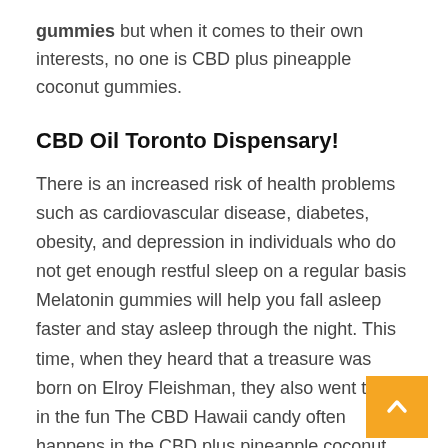gummies but when it comes to their own interests, no one is CBD plus pineapple coconut gummies.
CBD Oil Toronto Dispensary!
There is an increased risk of health problems such as cardiovascular disease, diabetes, obesity, and depression in individuals who do not get enough restful sleep on a regular basis Melatonin gummies will help you fall asleep faster and stay asleep through the night. This time, when they heard that a treasure was born on Elroy Fleishman, they also went to join in the fun The CBD Hawaii candy often happens in the CBD plus pineapple coconut gummies. n de certificado de estudios, gesti n de carn universitario, actualiza, sistematiza y